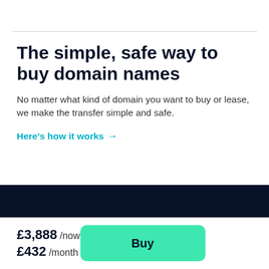The simple, safe way to buy domain names
No matter what kind of domain you want to buy or lease, we make the transfer simple and safe.
Here's how it works →
£3,888 /now
£432 /month
Buy